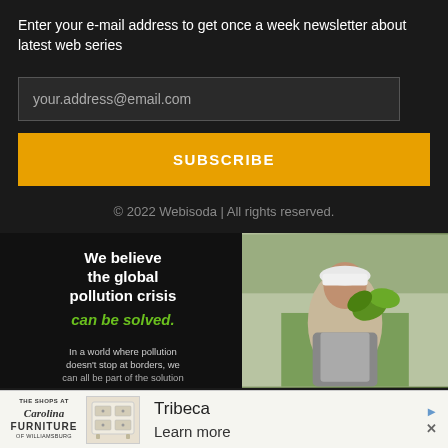Enter your e-mail address to get once a week newsletter about latest web series
your.address@email.com
SUBSCRIBE
© 2022 Webisoda | All rights reserved.
[Figure (illustration): Advertisement banner: 'We believe the global pollution crisis can be solved.' with a photo of a person wearing a white hard hat tending to a plant.]
[Figure (illustration): Bottom advertisement bar: The Shops at Carolina Furniture of Williamsburg, showing a Tribeca dresser image with 'Learn more' text and close/play icons.]